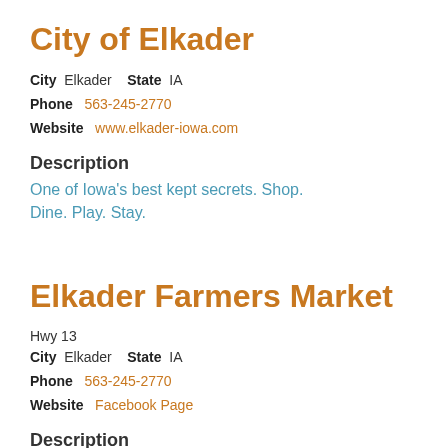City of Elkader
City  Elkader    State  IA
Phone  563-245-2770
Website  www.elkader-iowa.com
Description
One of Iowa's best kept secrets. Shop. Dine. Play. Stay.
Elkader Farmers Market
Hwy 13
City  Elkader    State  IA
Phone  563-245-2770
Website  Facebook Page
Description